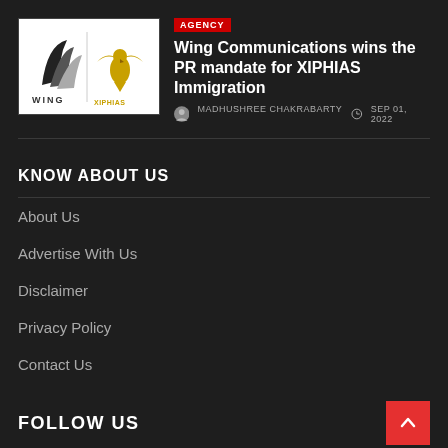[Figure (logo): Wing Communications and XIPHIAS Immigration logos side by side on white background]
AGENCY
Wing Communications wins the PR mandate for XIPHIAS Immigration
MADHUSHREE CHAKRABARTY   SEP 01, 2022
KNOW ABOUT US
About Us
Advertise With Us
Disclaimer
Privacy Policy
Contact Us
FOLLOW US